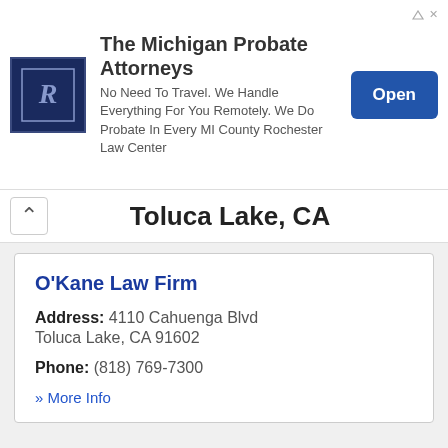[Figure (infographic): Advertisement banner for The Michigan Probate Attorneys - Rochester Law Center with logo, descriptive text, and Open button]
Toluca Lake, CA
O'Kane Law Firm
Address: 4110 Cahuenga Blvd Toluca Lake, CA 91602
Phone: (818) 769-7300
» More Info
Topanga, CA